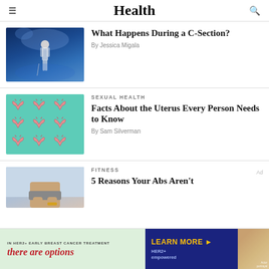Health
What Happens During a C-Section?
By Jessica Migala
SEXUAL HEALTH
Facts About the Uterus Every Person Needs to Know
By Sam Silverman
FITNESS
5 Reasons Your Abs Aren't
[Figure (photo): Performance concert photo with blue lighting]
[Figure (illustration): Teal background with repeated uterus illustrations]
[Figure (photo): Fitness photo showing person's torso and legs]
[Figure (infographic): Advertisement banner: IN HER2+ EARLY BREAST CANCER TREATMENT there are options | LEARN MORE > HER2+ empowered | Actor portrayal]